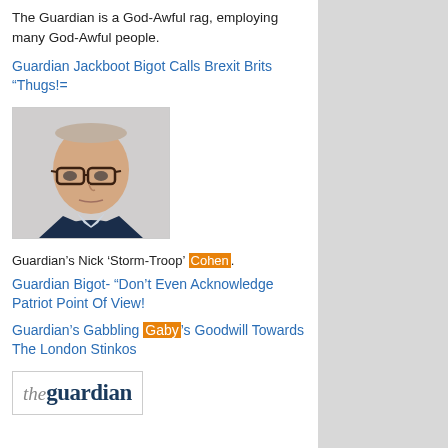The Guardian is a God-Awful rag, employing many God-Awful people.
Guardian Jackboot Bigot Calls Brexit Brits “Thugs!=
[Figure (photo): Headshot photo of a middle-aged bald man wearing glasses and a dark suit jacket]
Guardian’s Nick ‘Storm-Troop’ Cohen.
Guardian Bigot- “Don’t Even Acknowledge Patriot Point Of View!
Guardian’s Gabbling Gaby’s Goodwill Towards The London Stinkos
[Figure (logo): The Guardian newspaper logo]